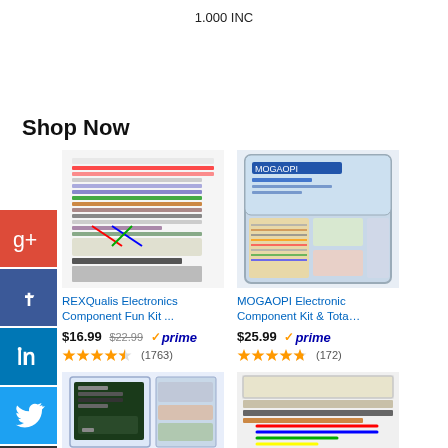1.000 INC
Shop Now
[Figure (photo): REXQualis Electronics Component Fun Kit with breadboard, resistors, LEDs, jumper wires and other components]
REXQualis Electronics Component Fun Kit ...
$16.99  $22.99  ✓prime  (1763)
[Figure (photo): MOGAOPI Electronic Component Kit & Total in a clear plastic organizer case]
MOGAOPI Electronic Component Kit & Tota…
$25.99  ✓prime  (172)
[Figure (photo): Arduino starter kit with breadboard and components]
[Figure (photo): Electronics component kit with breadboard and wires]